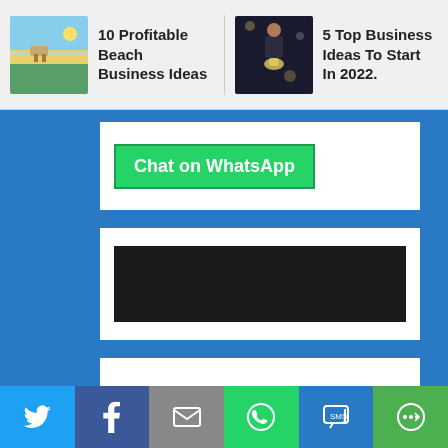[Figure (screenshot): Navigation item: beach chair image with text '10 Profitable Beach Business Ideas']
10 Profitable Beach Business Ideas
[Figure (screenshot): Navigation item: business person image with text '5 Top Business Ideas To Start In 2022.']
5 Top Business Ideas To Start In 2022.
Chat on WhatsApp
[Figure (photo): Black rectangle image placeholder]
■
About Us
[Figure (infographic): Social share bar with Twitter, Facebook, Email, WhatsApp, SMS, and More buttons]